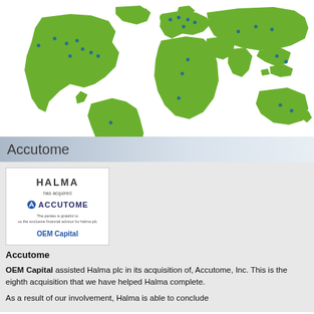[Figure (map): World map in green showing global locations with blue dot markers across North America, Europe, Asia, South America, and Australia]
Accutome
[Figure (other): Deal tombstone card: HALMA has acquired ACCUTOME, with OEM Capital as financial advisor]
Accutome
OEM Capital assisted Halma plc in its acquisition of, Accutome, Inc. This is the eighth acquisition that we have helped Halma complete.
As a result of our involvement, Halma is able to conclude